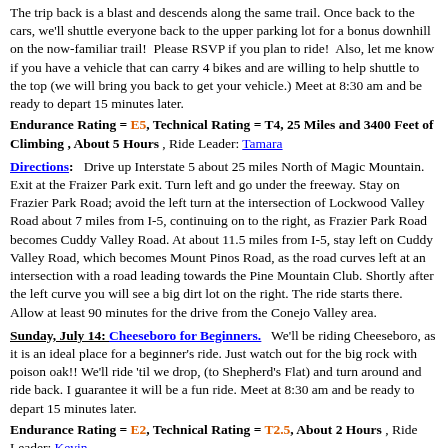The trip back is a blast and descends along the same trail. Once back to the cars, we'll shuttle everyone back to the upper parking lot for a bonus downhill on the now-familiar trail!  Please RSVP if you plan to ride!  Also, let me know if you have a vehicle that can carry 4 bikes and are willing to help shuttle to the top (we will bring you back to get your vehicle.) Meet at 8:30 am and be ready to depart 15 minutes later.
Endurance Rating = E5, Technical Rating = T4, 25 Miles and 3400 Feet of Climbing , About 5 Hours , Ride Leader: Tamara
Directions:   Drive up Interstate 5 about 25 miles North of Magic Mountain. Exit at the Fraizer Park exit. Turn left and go under the freeway. Stay on Frazier Park Road; avoid the left turn at the intersection of Lockwood Valley Road about 7 miles from I-5, continuing on to the right, as Frazier Park Road becomes Cuddy Valley Road. At about 11.5 miles from I-5, stay left on Cuddy Valley Road, which becomes Mount Pinos Road, as the road curves left at an intersection with a road leading towards the Pine Mountain Club. Shortly after the left curve you will see a big dirt lot on the right. The ride starts there. Allow at least 90 minutes for the drive from the Conejo Valley area.
Sunday, July 14: Cheeseboro for Beginners.   We'll be riding Cheeseboro, as it is an ideal place for a beginner's ride. Just watch out for the big rock with poison oak!! We'll ride 'til we drop, (to Shepherd's Flat) and turn around and ride back. I guarantee it will be a fun ride. Meet at 8:30 am and be ready to depart 15 minutes later.
Endurance Rating = E2, Technical Rating = T2.5, About 2 Hours , Ride Leader: Kevin
Directions:   Take the 101 Freeway to the Chesebro exit in Agoura. Head north and make a right on Chesebro Road. Follow the narrow road one-mile and turn